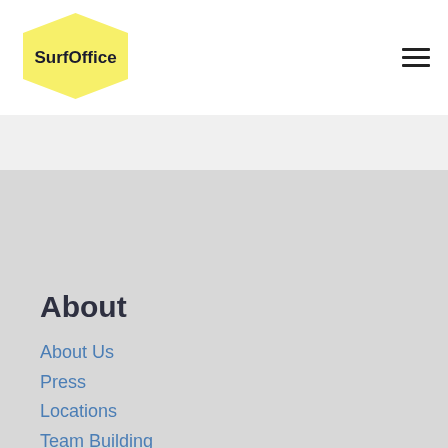[Figure (logo): SurfOffice logo: yellow hexagon shape with bold dark text 'SurfOffice']
About
About Us
Press
Locations
Team Building
Coworking Spaces
Privacy Policy